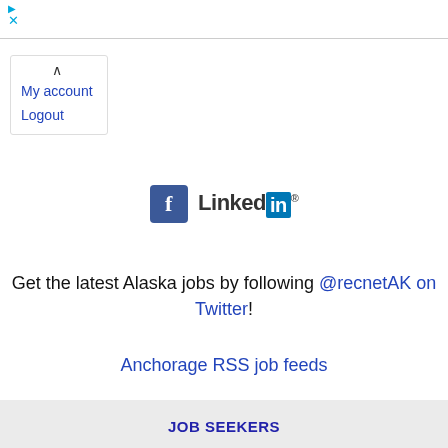[Figure (logo): Close/dismiss icon: blue arrow up and blue X]
My account
Logout
[Figure (logo): Facebook logo (blue F) and LinkedIn logo side by side]
Get the latest Alaska jobs by following @recnetAK on Twitter!
Anchorage RSS job feeds
JOB SEEKERS
Search Anchorage jobs
Post your resume
Email job alerts
Register / Log in